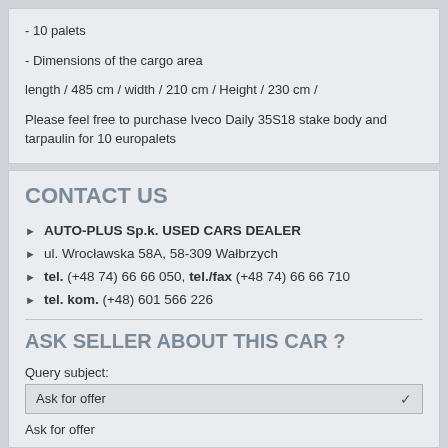- 10 palets
- Dimensions of the cargo area
length / 485 cm / width / 210 cm / Height / 230 cm /
Please feel free to purchase Iveco Daily 35S18 stake body and tarpaulin for 10 europalets
CONTACT US
AUTO-PLUS Sp.k. USED CARS DEALER
ul. Wrocławska 58A, 58-309 Wałbrzych
tel. (+48 74) 66 66 050, tel./fax (+48 74) 66 66 710
tel. kom. (+48) 601 566 226
ASK SELLER ABOUT THIS CAR ?
Query subject:
Ask for offer
Ask for offer